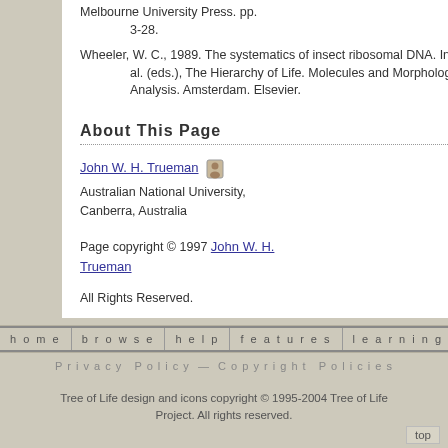Melbourne University Press. pp. 3-28.
Wheeler, W. C., 1989. The systematics of insect ribosomal DNA. In B. Fernholm et al. (eds.), The Hierarchy of Life. Molecules and Morphology in Phylogenetic Analysis. Amsterdam. Elsevier.
About This Page
John W. H. Trueman [icon] Australian National University, Canberra, Australia
Page copyright © 1997 John W. H. Trueman
All Rights Reserved.
home   browse   help   features   learning   contribute   abo...
Privacy Policy — Copyright Policies
Tree of Life design and icons copyright © 1995-2004 Tree of Life Project. All rights reserved.